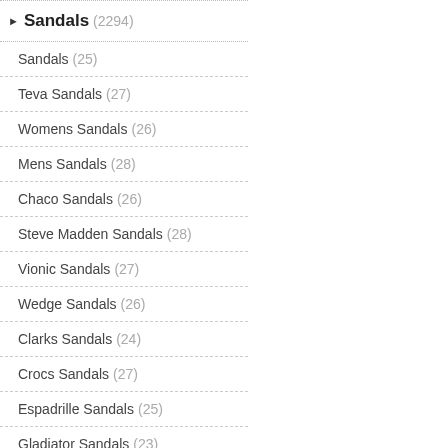Sandals (2294)
Sandals (25)
Teva Sandals (27)
Womens Sandals (26)
Mens Sandals (28)
Chaco Sandals (26)
Steve Madden Sandals (28)
Vionic Sandals (27)
Wedge Sandals (26)
Clarks Sandals (24)
Crocs Sandals (27)
Espadrille Sandals (25)
Gladiator Sandals (23)
White Sandals (27)
Jesus Sandals (23)